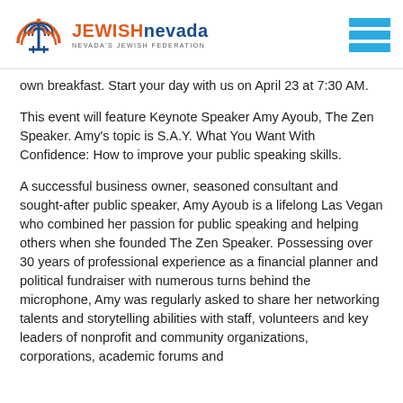[Figure (logo): Jewish Nevada — Nevada's Jewish Federation logo with menorah icon in orange and blue, and hamburger menu icon in blue on the right]
own breakfast. Start your day with us on April 23 at 7:30 AM.
This event will feature Keynote Speaker Amy Ayoub, The Zen Speaker. Amy's topic is S.A.Y. What You Want With Confidence: How to improve your public speaking skills.
A successful business owner, seasoned consultant and sought-after public speaker, Amy Ayoub is a lifelong Las Vegan who combined her passion for public speaking and helping others when she founded The Zen Speaker. Possessing over 30 years of professional experience as a financial planner and political fundraiser with numerous turns behind the microphone, Amy was regularly asked to share her networking talents and storytelling abilities with staff, volunteers and key leaders of nonprofit and community organizations, corporations, academic forums and